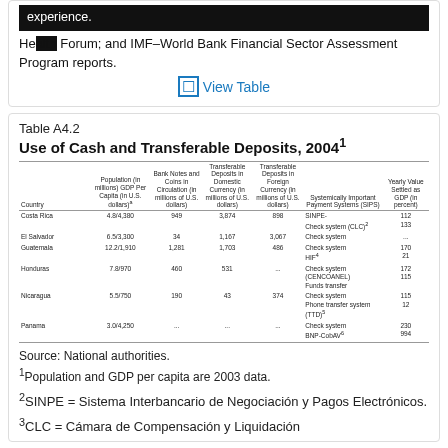experience.
He[...] Forum; and IMF–World Bank Financial Sector Assessment Program reports.
View Table
Table A4.2 Use of Cash and Transferable Deposits, 2004¹
| Country | Population (in millions) GDP Per Capita (in U.S. dollars) | Bank Notes and Coins in Circulation (in millions of U.S. dollars) | Transferable Deposits in Domestic Currency (in millions of U.S. dollars) | Transferable Deposits in Foreign Currency (in millions of U.S. dollars) | Systemically Important Payment Systems (SIPS) | Yearly Value Settled as GDP (in percent) |
| --- | --- | --- | --- | --- | --- | --- |
| Costa Rica | 4.8/4,380 | 949 | 3,874 | 898 | SINPE- Check system (CLC)² | 112 133 |
| El Salvador | 6.5/3,300 | 34 | 1,167 | 3,067 | Check system | ... |
| Guatemala | 12.2/1,910 | 1,281 | 1,703 | 486 | Check system HIF⁴ | 170 21 |
| Honduras | 7.8/970 | 460 | 531 | ... | Check system CENCOANEL Funds transfer | 172 115 |
| Nicaragua | 5.5/750 | 190 | 43 | 374 | Check system Phone transfer system (TTD)⁵ | 115 12 |
| Panama | 3.0/4,250 | ... | ... | ... | Check system BNP-CobAV⁶ | 230 994 |
Source: National authorities.
¹Population and GDP per capita are 2003 data.
²SINPE = Sistema Interbancario de Negociación y Pagos Electrónicos.
³CLC = Cámara de Compensación y Liquidación